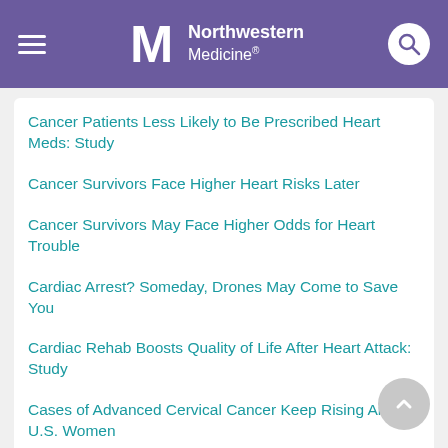Northwestern Medicine
Cancer Patients Less Likely to Be Prescribed Heart Meds: Study
Cancer Survivors Face Higher Heart Risks Later
Cancer Survivors May Face Higher Odds for Heart Trouble
Cardiac Arrest? Someday, Drones May Come to Save You
Cardiac Rehab Boosts Quality of Life After Heart Attack: Study
Cases of Advanced Cervical Cancer Keep Rising Among U.S. Women
Cases of Children's Severe COVID-Linked Illness Were Worse in Second Wave